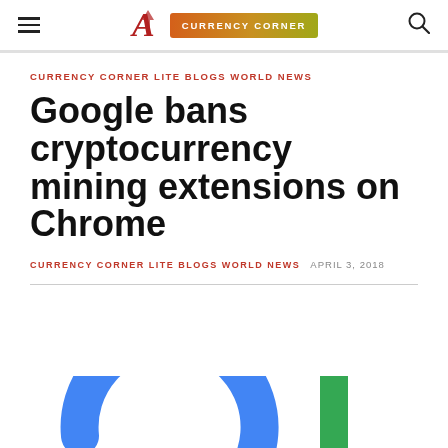Currency Corner
CURRENCY CORNER LITE BLOGS WORLD NEWS
Google bans cryptocurrency mining extensions on Chrome
CURRENCY CORNER LITE BLOGS WORLD NEWS   APRIL 3, 2018
[Figure (logo): Partial Google logo visible at bottom of page — blue arc of letter G and green vertical bar of letter l]